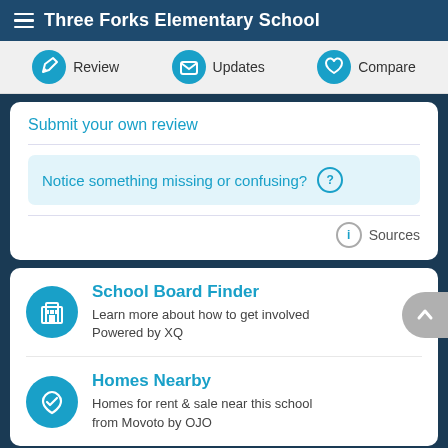Three Forks Elementary School
Review | Updates | Compare
Submit your own review
Notice something missing or confusing? ?
Sources
School Board Finder
Learn more about how to get involved
Powered by XQ
Homes Nearby
Homes for rent & sale near this school from Movoto by OJO